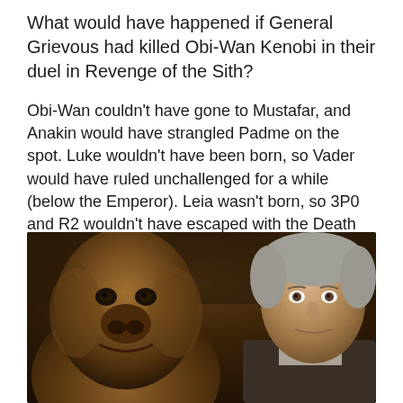What would have happened if General Grievous had killed Obi-Wan Kenobi in their duel in Revenge of the Sith?
Obi-Wan couldn't have gone to Mustafar, and Anakin would have strangled Padme on the spot. Luke wouldn't have been born, so Vader would have ruled unchallenged for a while (below the Emperor). Leia wasn't born, so 3P0 and R2 wouldn't have escaped with the Death Star Plans, and all those people in Rogue One would have died for nothing. Grand Moff Tarkin wouldn't have died, and would blow up many more rebel planets with his Death Star that didn't get destroyed.
[Figure (photo): Photo of Chewbacca and Han Solo (Harrison Ford) in the Millennium Falcon cockpit, from a Star Wars film.]